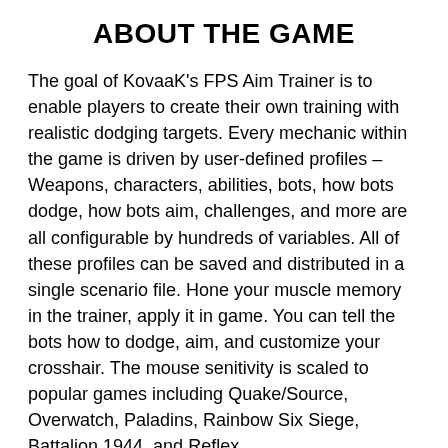ABOUT THE GAME
The goal of KovaaK's FPS Aim Trainer is to enable players to create their own training with realistic dodging targets. Every mechanic within the game is driven by user-defined profiles – Weapons, characters, abilities, bots, how bots dodge, how bots aim, challenges, and more are all configurable by hundreds of variables. All of these profiles can be saved and distributed in a single scenario file. Hone your muscle memory in the trainer, apply it in game. You can tell the bots how to dodge, aim, and customize your crosshair. The mouse senitivity is scaled to popular games including Quake/Source, Overwatch, Paladins, Rainbow Six Siege, Battalion 1944, and Reflex.
HOW TO DOWNLOAD &